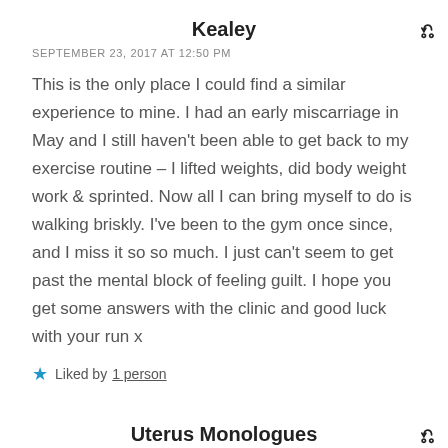Kealey
SEPTEMBER 23, 2017 AT 12:50 PM
This is the only place I could find a similar experience to mine. I had an early miscarriage in May and I still haven't been able to get back to my exercise routine – I lifted weights, did body weight work & sprinted. Now all I can bring myself to do is walking briskly. I've been to the gym once since, and I miss it so so much. I just can't seem to get past the mental block of feeling guilt. I hope you get some answers with the clinic and good luck with your run x
Liked by 1 person
Uterus Monologues
SEPTEMBER 27, 2017 AT 8:28 AM
Hi Kealey, so sorry for your loss and that you feel